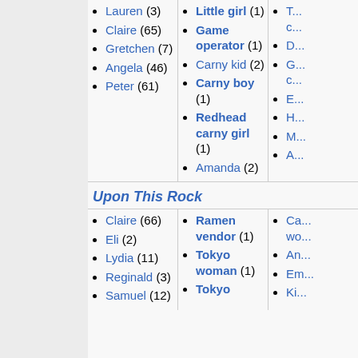Lauren (3)
Claire (65)
Gretchen (7)
Angela (46)
Peter (61)
Little girl (1)
Game operator (1)
Carny kid (2)
Carny boy (1)
Redhead carny girl (1)
Amanda (2)
Upon This Rock
Claire (66)
Eli (2)
Lydia (11)
Reginald (3)
Samuel (12)
Ramen vendor (1)
Tokyo woman (1)
Tokyo...